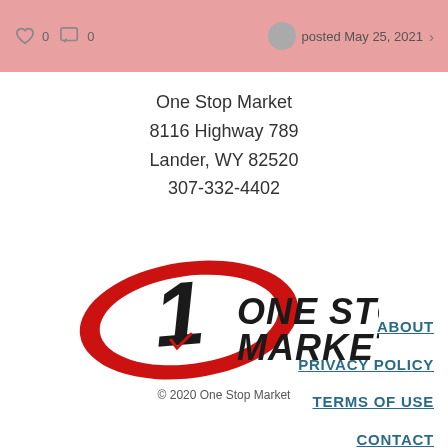[Figure (screenshot): Top banner with heart icon showing 0, comment icon showing 0, user avatar, and 'posted May 25, 2021' text with arrow]
One Stop Market
8116 Highway 789
Lander, WY 82520
307-332-4402
[Figure (logo): One Stop Market logo with red oval swoosh, bold stylized '1' numeral in black, and 'ONE STOP MARKET' text in italic black letters]
© 2020 One Stop Market
ABOUT
PRIVACY POLICY
TERMS OF USE
CONTACT